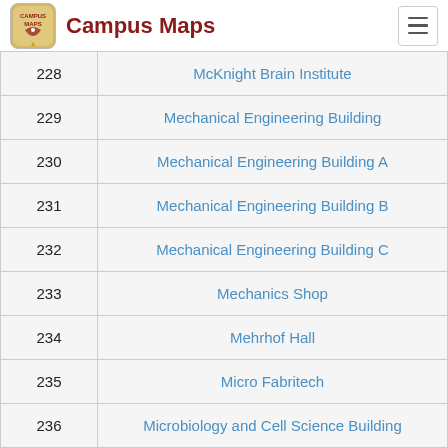Campus Maps
| # | Building Name |
| --- | --- |
| 228 | McKnight Brain Institute |
| 229 | Mechanical Engineering Building |
| 230 | Mechanical Engineering Building A |
| 231 | Mechanical Engineering Building B |
| 232 | Mechanical Engineering Building C |
| 233 | Mechanics Shop |
| 234 | Mehrhof Hall |
| 235 | Micro Fabritech |
| 236 | Microbiology and Cell Science Building |
| 237 | Microbiology/Cell Science Building |
| 238 | Microkelvin Laboratory |